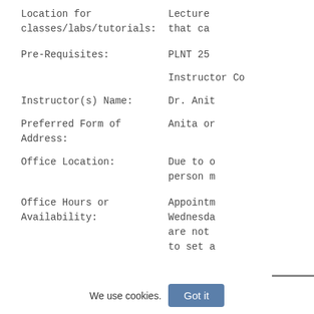Location for classes/labs/tutorials:    Lecture that ca
Pre-Requisites:    PLNT 25
Instructor Co
Instructor(s) Name:    Dr. Anit
Preferred Form of Address:    Anita or
Office Location:    Due to o person m
Office Hours or Availability:    Appointm Wednesda are not to set a
We use cookies.
Got it